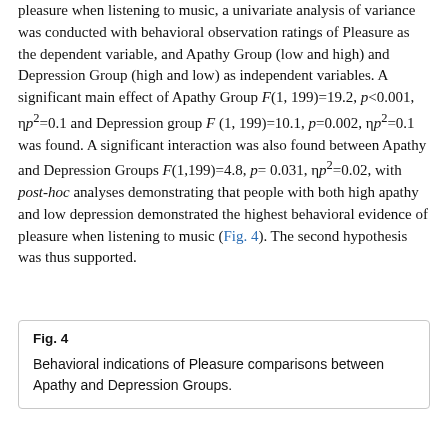pleasure when listening to music, a univariate analysis of variance was conducted with behavioral observation ratings of Pleasure as the dependent variable, and Apathy Group (low and high) and Depression Group (high and low) as independent variables. A significant main effect of Apathy Group F(1, 199)=19.2, p<0.001, ηp²=0.1 and Depression group F (1, 199)=10.1, p=0.002, ηp²=0.1 was found. A significant interaction was also found between Apathy and Depression Groups F(1,199)=4.8, p=0.031, ηp²=0.02, with post-hoc analyses demonstrating that people with both high apathy and low depression demonstrated the highest behavioral evidence of pleasure when listening to music (Fig. 4). The second hypothesis was thus supported.
Fig. 4
Behavioral indications of Pleasure comparisons between Apathy and Depression Groups.